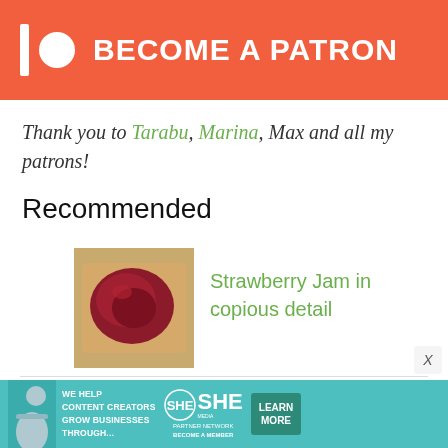[Figure (logo): Patreon banner with logo icon (bar and circle) and text BECOME A PATRON on coral/red-orange background]
Thank you to Tarabu, Marina, Max and all my patrons!
Recommended
[Figure (photo): Food photo: strawberry jam on toast, close-up]
Strawberry Jam in copious detail
[Figure (photo): Food photo: wavy Japanese sesame cucumbers on a pink plate]
Sexy Wavy Japanese Sesame Cucumbers
[Figure (infographic): SHE Partner Network advertisement banner: We help content creators grow businesses through... with Learn More button]